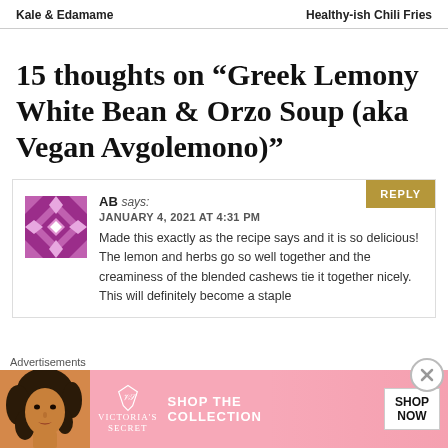Kale & Edamame    Healthy-ish Chili Fries
15 thoughts on “Greek Lemony White Bean & Orzo Soup (aka Vegan Avgolemono)”
AB says:
JANUARY 4, 2021 AT 4:31 PM
Made this exactly as the recipe says and it is so delicious! The lemon and herbs go so well together and the creaminess of the blended cashews tie it together nicely. This will definitely become a staple
[Figure (screenshot): Victoria's Secret advertisement banner: pink background with model photo on left, VS logo, SHOP THE COLLECTION text in center, SHOP NOW button on right]
Advertisements